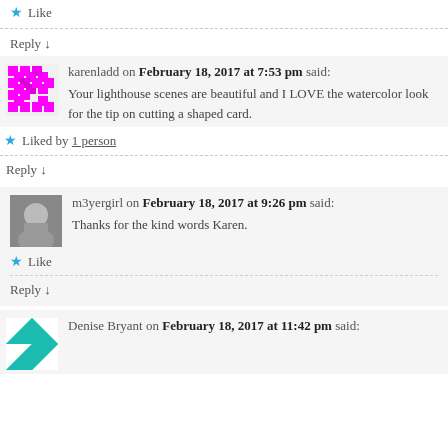★ Like
Reply ↓
karenladd on February 18, 2017 at 7:53 pm said:
Your lighthouse scenes are beautiful and I LOVE the watercolor look for the tip on cutting a shaped card.
★ Liked by 1 person
Reply ↓
m3yergirl on February 18, 2017 at 9:26 pm said:
Thanks for the kind words Karen.
★ Like
Reply ↓
Denise Bryant on February 18, 2017 at 11:42 pm said: